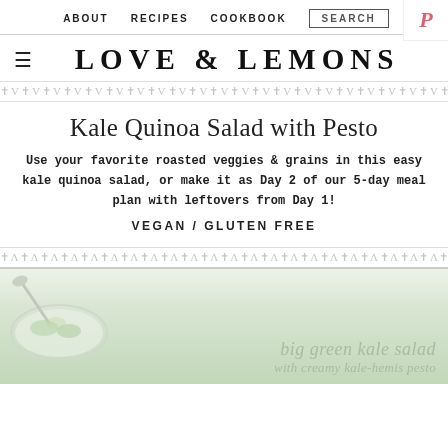ABOUT   RECIPES   COOKBOOK   SEARCH
LOVE & LEMONS
[Figure (illustration): Decorative repeating pattern border with V and cross symbols in gray]
Kale Quinoa Salad with Pesto
Use your favorite roasted veggies & grains in this easy kale quinoa salad, or make it as Day 2 of our 5-day meal plan with leftovers from Day 1!
VEGAN / GLUTEN FREE
[Figure (illustration): Decorative repeating pattern border with anchor and cross symbols in gray]
[Figure (photo): Food photo of kale salad in a bowl with spoon, light green tones. Text overlay in script: 'big green kale salad with creamy kale-hemis pesto']